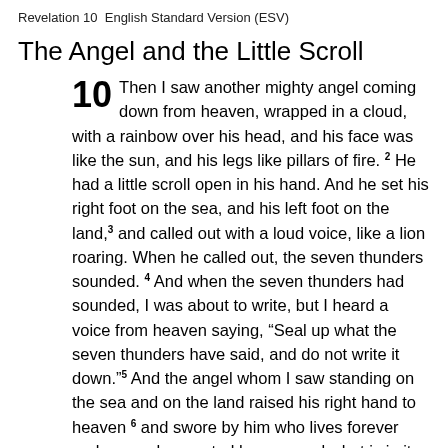Revelation 10   English Standard Version (ESV)
The Angel and the Little Scroll
10 Then I saw another mighty angel coming down from heaven, wrapped in a cloud, with a rainbow over his head, and his face was like the sun, and his legs like pillars of fire. 2 He had a little scroll open in his hand. And he set his right foot on the sea, and his left foot on the land,3 and called out with a loud voice, like a lion roaring. When he called out, the seven thunders sounded. 4 And when the seven thunders had sounded, I was about to write, but I heard a voice from heaven saying, “Seal up what the seven thunders have said, and do not write it down.”5 And the angel whom I saw standing on the sea and on the land raised his right hand to heaven 6 and swore by him who lives forever and ever, who created heaven and what is in it, the earth and what is in it, and the sea and what is in it, that